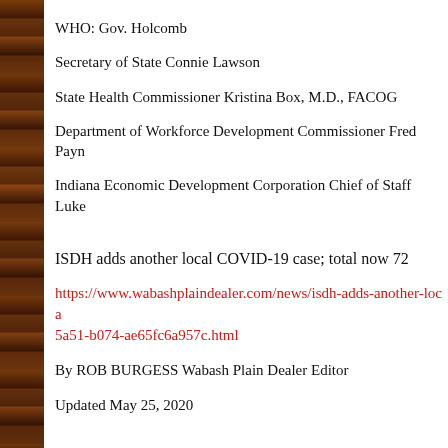WHO: Gov. Holcomb
Secretary of State Connie Lawson
State Health Commissioner Kristina Box, M.D., FACOG
Department of Workforce Development Commissioner Fred Payne
Indiana Economic Development Corporation Chief of Staff Luke
ISDH adds another local COVID-19 case; total now 72
https://www.wabashplaindealer.com/news/isdh-adds-another-local-5a51-b074-ae65fc6a957c.html
By ROB BURGESS Wabash Plain Dealer Editor
Updated May 25, 2020